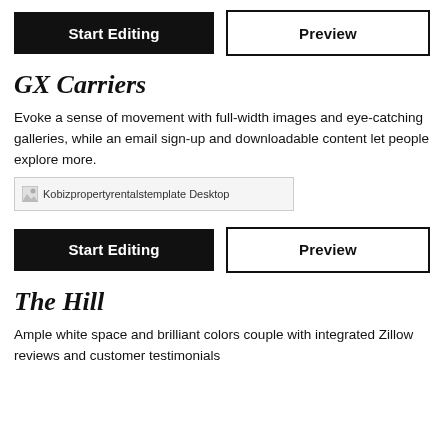[Figure (screenshot): Start Editing button (black) and Preview button (outline) row at top]
GX Carriers
Evoke a sense of movement with full-width images and eye-catching galleries, while an email sign-up and downloadable content let people explore more.
[Figure (screenshot): Broken image placeholder for Kobizpropertyrentalstemplate Desktop]
[Figure (screenshot): Start Editing button (black) and Preview button (outline) row]
The Hill
Ample white space and brilliant colors couple with integrated Zillow reviews and customer testimonials